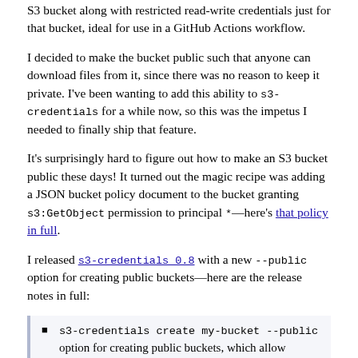S3 bucket along with restricted read-write credentials just for that bucket, ideal for use in a GitHub Actions workflow.
I decided to make the bucket public such that anyone can download files from it, since there was no reason to keep it private. I've been wanting to add this ability to s3-credentials for a while now, so this was the impetus I needed to finally ship that feature.
It's surprisingly hard to figure out how to make an S3 bucket public these days! It turned out the magic recipe was adding a JSON bucket policy document to the bucket granting s3:GetObject permission to principal *—here's that policy in full.
I released s3-credentials 0.8 with a new --public option for creating public buckets—here are the release notes in full:
s3-credentials create my-bucket --public option for creating public buckets, which allow anyone with